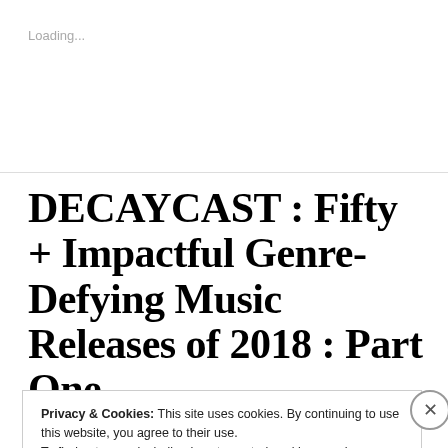Loading...
DECAYCAST : Fifty + Impactful Genre- Defying Music Releases of 2018 : Part One
Privacy & Cookies: This site uses cookies. By continuing to use this website, you agree to their use.
To find out more, including how to control cookies, see here: Cookie Policy
Close and accept